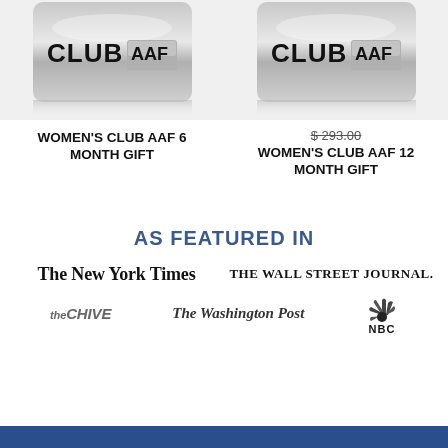[Figure (photo): Silver CLUBAAF gift card image, left product]
WOMEN'S CLUB AAF 6 MONTH GIFT
[Figure (photo): Silver CLUBAAF gift card image, right product]
$ 293.00 (strikethrough price)
WOMEN'S CLUB AAF 12 MONTH GIFT
AS FEATURED IN
The New York Times
THE WALL STREET JOURNAL.
the CHIVE
The Washington Post
[Figure (logo): NBC peacock logo]